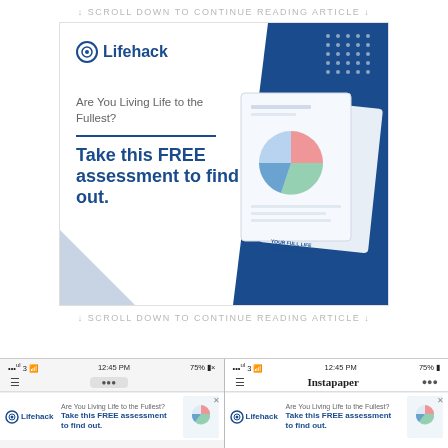↓ SCROLL DOWN TO CONTINUE READING ARTICLE ↓
[Figure (screenshot): Lifehack advertisement banner with logo, tagline 'Are You Living Life to the Fullest?', headline 'Take this FREE assessment to find out.' with report document image on blue background, and close X button]
↓ SCROLL DOWN TO CONTINUE READING ARTICLE ↓
[Figure (screenshot): Two mobile phone screenshots showing the same Lifehack ad in a mobile browser and in the Instapaper app]